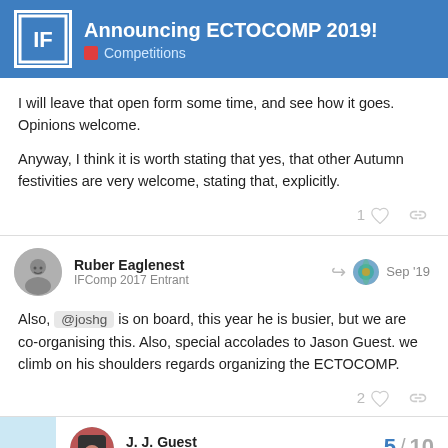Announcing ECTOCOMP 2019! — Competitions
I will leave that open form some time, and see how it goes. Opinions welcome.

Anyway, I think it is worth stating that yes, that other Autumn festivities are very welcome, stating that, explicitly.
Ruber Eaglenest — IFComp 2017 Entrant — Sep '19
Also, @joshg is on board, this year he is busier, but we are co-organising this. Also, special accolades to Jason Guest. we climb on his shoulders regards organizing the ECTOCOMP.
J. J. Guest — IFComp 2018 Entrant — 5 / 10